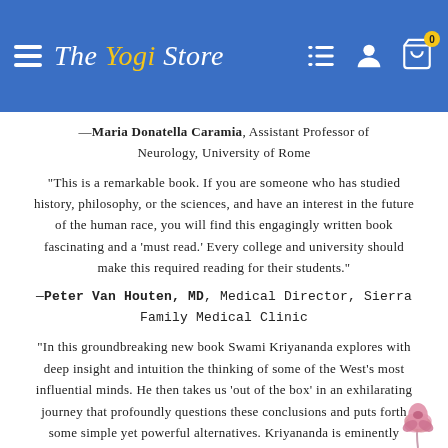The Yogi Store
—Maria Donatella Caramia, Assistant Professor of Neurology, University of Rome
"This is a remarkable book. If you are someone who has studied history, philosophy, or the sciences, and have an interest in the future of the human race, you will find this engagingly written book fascinating and a 'must read.' Every college and university should make this required reading for their students."
—Peter Van Houten, MD, Medical Director, Sierra Family Medical Clinic
"In this groundbreaking new book Swami Kriyananda explores with deep insight and intuition the thinking of some of the West's most influential minds. He then takes us 'out of the box' in an exhilarating journey that profoundly questions these conclusions and puts forth some simple yet powerful alternatives. Kriyananda is eminently practical. In the last chapter, he shares his vision